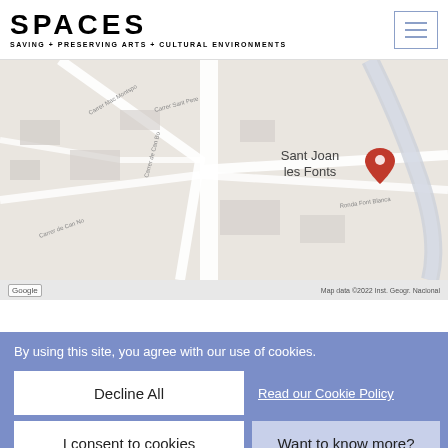SPACES — SAVING + PRESERVING ARTS + CULTURAL ENVIRONMENTS
[Figure (map): Google map showing Sant Joan les Fonts location with a red pin marker, showing street layout of the town area. Attribution reads: Google, Map data ©2022 Inst. Geogr. Nacional]
VIEW LARGER MAP IN NEW WINDOW
By using this site, you agree with our use of cookies.
Decline All
Read our Cookie Policy
I consent to cookies
Want to know more?